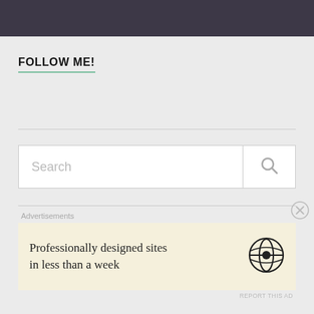FOLLOW ME!
[Figure (screenshot): Search box with placeholder text 'Search' and a search icon button on the right]
Advertisements
[Figure (infographic): WordPress advertisement banner: 'Professionally designed sites in less than a week' with WordPress logo]
REPORT THIS AD